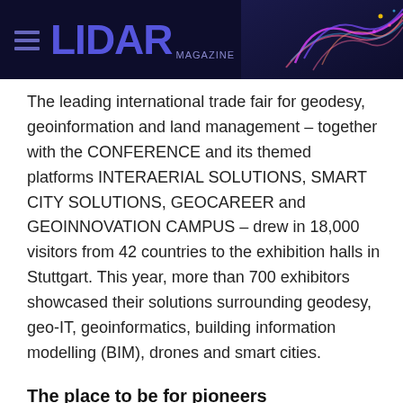LIDAR MAGAZINE
The leading international trade fair for geodesy, geoinformation and land management – together with the CONFERENCE and its themed platforms INTERAERIAL SOLUTIONS, SMART CITY SOLUTIONS, GEOCAREER and GEOINNOVATION CAMPUS – drew in 18,000 visitors from 42 countries to the exhibition halls in Stuttgart. This year, more than 700 exhibitors showcased their solutions surrounding geodesy, geo-IT, geoinformatics, building information modelling (BIM), drones and smart cities.
The place to be for pioneers